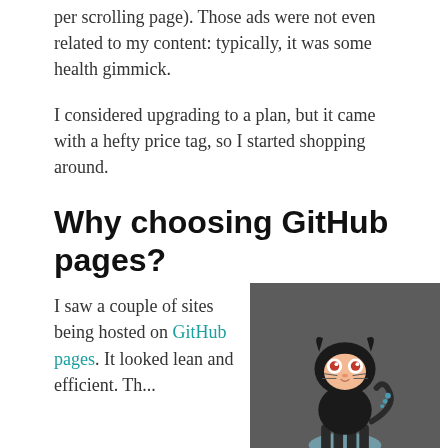per scrolling page). Those ads were not even related to my content: typically, it was some health gimmick.
I considered upgrading to a plan, but it came with a hefty price tag, so I started shopping around.
Why choosing GitHub pages?
I saw a couple of sites being hosted on GitHub pages. It looked lean and efficient. Th...
[Figure (illustration): GitHub Pages logo with Octocat mascot on dark grey background, text reads 'GitHub Pages']